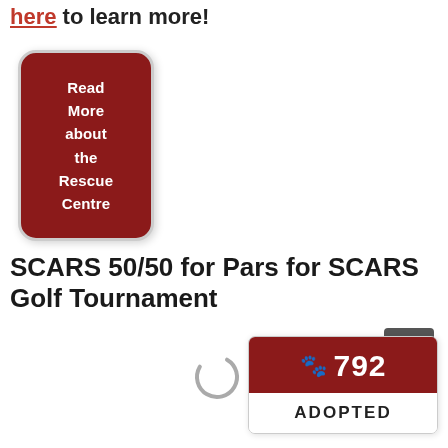here to learn more!
[Figure (illustration): Dark red rounded button with white bold text reading 'Read More about the Rescue Centre']
SCARS 50/50 for Pars for SCARS Golf Tournament
[Figure (other): Loading spinner (partial circle arc)]
[Figure (other): Back to top button (dark grey square with upward chevron)]
[Figure (infographic): Adopted badge widget showing paw print icon, number 792, and the word ADOPTED below on white background]